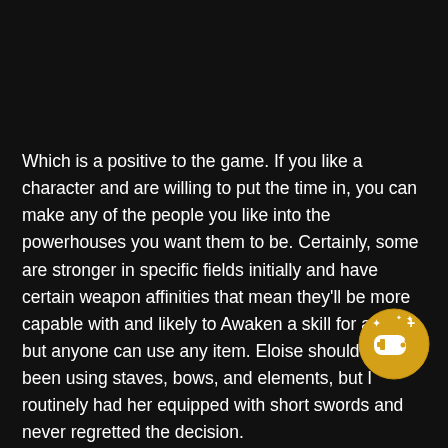Which is a positive to the game. If you like a character and are willing to put the time in, you can make any of the people you like into the powerhouses you want them to be. Certainly, some are stronger in specific fields initially and have certain weapon affinities that mean they'll be more capable with and likely to Awaken a skill for an item, but anyone can use any item. Eloise should have been using staves, bows, and elements, but I routinely had her equipped with short swords and never regretted the decision.
[Figure (illustration): A circular gold/yellow badge icon featuring a game controller with sparkle/star effects and a plus symbol, representing a gaming achievement or rating badge.]